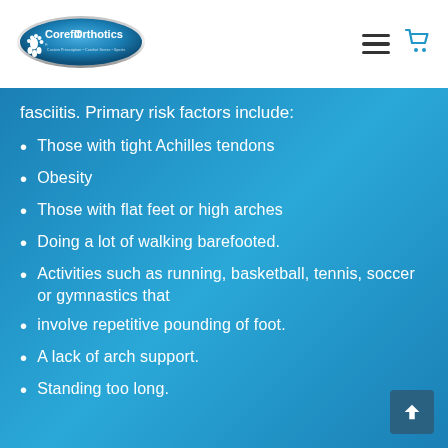[Figure (logo): Corefit Orthotics logo — oval shaped with gradient blue background, white foot icon and white text]
fasciitis. Primary risk factors include:
Those with tight Achilles tendons
Obesity
Those with flat feet or high arches
Doing a lot of walking barefooted.
Activities such as running, basketball, tennis, soccer or gymnastics that
involve repetitive pounding of foot.
A lack of arch support.
Standing too long.